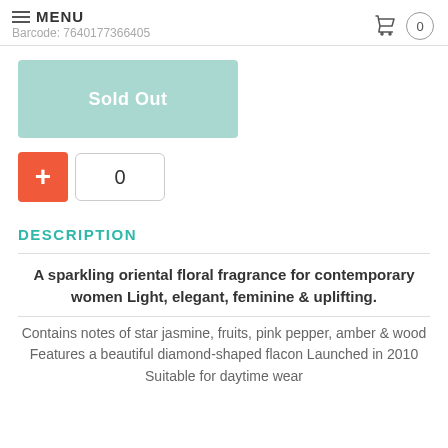MENU  Barcode: 7640177366405
Sold Out
0
DESCRIPTION
A sparkling oriental floral fragrance for contemporary women Light, elegant, feminine & uplifting.
Contains notes of star jasmine, fruits, pink pepper, amber & wood Features a beautiful diamond-shaped flacon Launched in 2010 Suitable for daytime wear